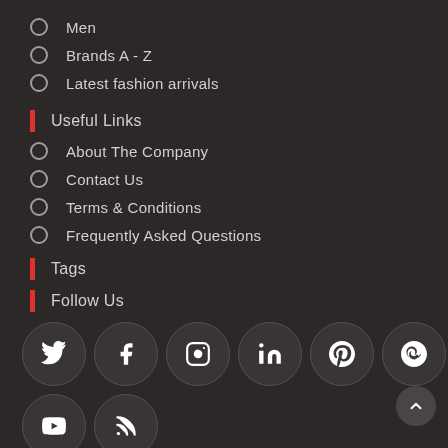Men
Brands A - Z
Latest fashion arrivals
Useful Links
About The Company
Contact Us
Terms & Conditions
Frequently Asked Questions
Tags
Follow Us
[Figure (other): Social media icons in dark circles: Twitter, Facebook, Instagram, LinkedIn, Pinterest, Vine, YouTube, RSS]